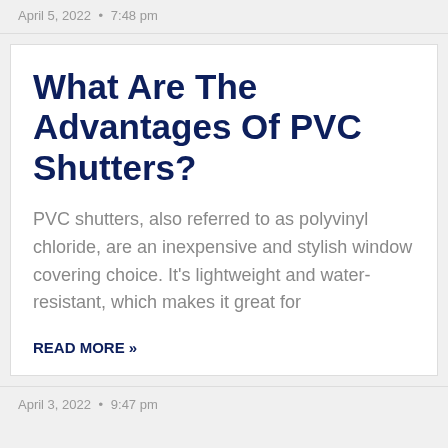April 5, 2022 • 7:48 pm
What Are The Advantages Of PVC Shutters?
PVC shutters, also referred to as polyvinyl chloride, are an inexpensive and stylish window covering choice. It's lightweight and water-resistant, which makes it great for
READ MORE »
April 3, 2022 • 9:47 pm